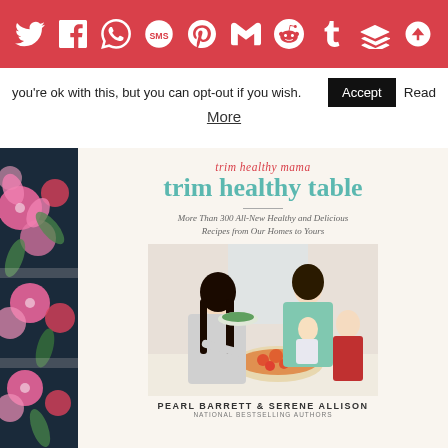[Figure (other): Red social media sharing toolbar with icons: Twitter, Facebook, WhatsApp, SMS, Pinterest, Gmail, Reddit, Tumblr, Buffer, and another sharing icon, all white on red background]
you're ok with this, but you can opt-out if you wish.
Accept
Read More
[Figure (photo): Book cover for 'trim healthy mama trim healthy table: More Than 300 All-New Healthy and Delicious Recipes from Our Homes to Yours' by Pearl Barrett & Serene Allison, National Bestselling Authors. Cover shows two women and children at a kitchen table with food. The left side has a floral decorative strip with pink and green flowers on dark background.]